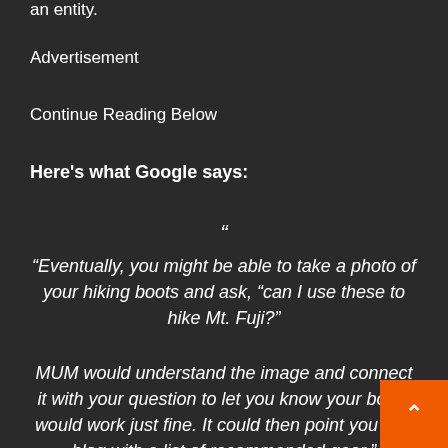an entity.
Advertisement
Continue Reading Below
Here's what Google says:
“
“Eventually, you might be able to take a photo of your hiking boots and ask, “can I use these to hike Mt. Fuji?”
MUM would understand the image and connect it with your question to let you know your boots would work just fine. It could then point you to a blog with a list of recommended gear.”